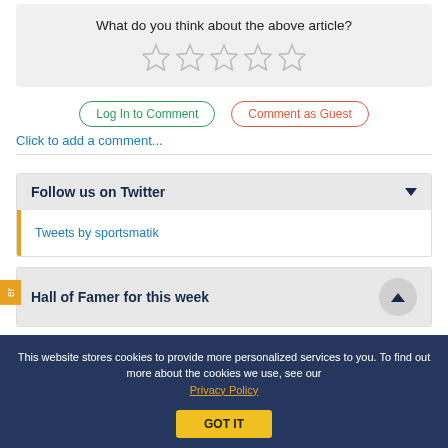What do you think about the above article?
[Figure (other): Five empty star rating icons]
Log In to Comment
Comment as Guest
Click to add a comment...
Follow us on Twitter
Tweets by sportsmatik
Hall of Famer for this week
This website stores cookies to provide more personalized services to you. To find out more about the cookies we use, see our Privacy Policy
GOT IT